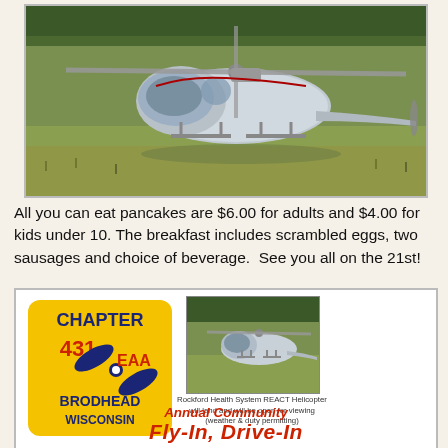[Figure (photo): A silver/white helicopter on a grassy field, close-up view from the front-right angle]
All you can eat pancakes are $6.00 for adults and $4.00 for kids under 10. The breakfast includes scrambled eggs, two sausages and choice of beverage.  See you all on the 21st!
[Figure (infographic): EAA Chapter 431 Brodhead Wisconsin logo (yellow square with blue propeller and EAA text), a small photo of a Rockford Health System REACT Helicopter with caption, and text reading 'Annual Community Fly-In, Drive-In']
Rockford Health System REACT Helicopter will land and will be open for viewing (weather & duty permitting)
Annual Community Fly-In, Drive-In